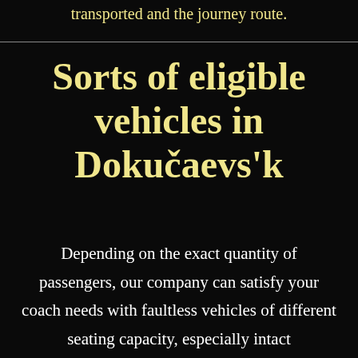transported and the journey route.
Sorts of eligible vehicles in Dokučaevs'k
Depending on the exact quantity of passengers, our company can satisfy your coach needs with faultless vehicles of different seating capacity, especially intact